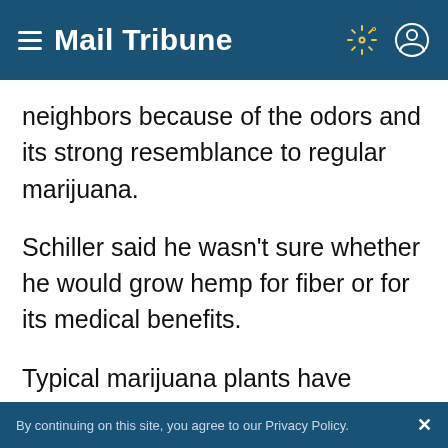Mail Tribune
neighbors because of the odors and its strong resemblance to regular marijuana.
Schiller said he wasn't sure whether he would grow hemp for fiber or for its medical benefits.
Typical marijuana plants have tetrahydrocannabinol, or THC, that produces the high. Female hemp plants are being grown throughout the state for the cannabidiol, or CBD, which is touted as good for pain relief,
By continuing on this site, you agree to our Privacy Policy.